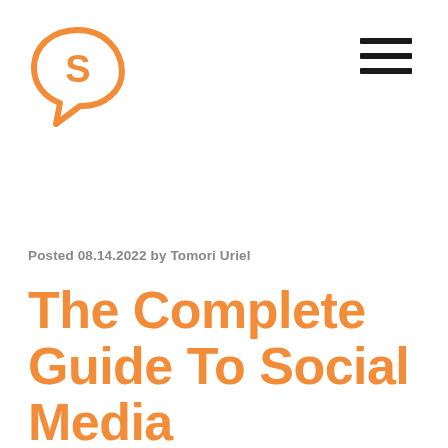[Figure (logo): Orange speech-bubble logo with letter S inside, rounded chat-bubble shape with a pointed bottom-left tail]
[Figure (other): Hamburger menu icon — three horizontal dark bars stacked vertically, top-right corner]
Posted 08.14.2022 by Tomori Uriel
The Complete Guide To Social Media Amplification